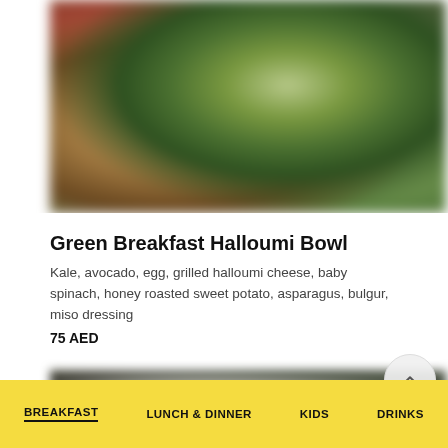[Figure (photo): Blurred close-up photo of a green breakfast halloumi bowl with kale, avocado, egg and other ingredients]
Green Breakfast Halloumi Bowl
Kale, avocado, egg, grilled halloumi cheese, baby spinach, honey roasted sweet potato, asparagus, bulgur, miso dressing
75 AED
[Figure (photo): Partial blurred photo of another food item below]
BREAKFAST  LUNCH & DINNER  KIDS  DRINKS